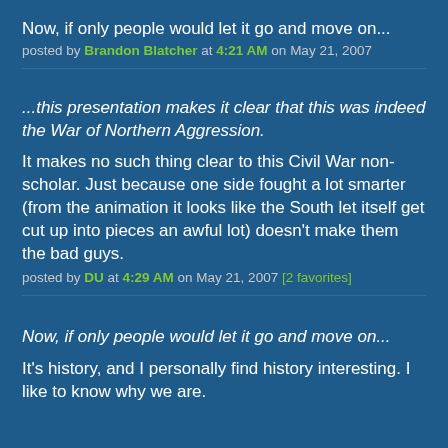Now, if only people would let it go and move on...
posted by Brandon Blatcher at 4:21 AM on May 21, 2007
...this presentation makes it clear that this was indeed the War of Northern Aggression.
It makes no such thing clear to this Civil War non-scholar. Just because one side fought a lot smarter (from the animation it looks like the South let itself get cut up into pieces an awful lot) doesn't make them the bad guys.
posted by DU at 4:29 AM on May 21, 2007 [2 favorites]
Now, if only people would let it go and move on...
It's history, and I personally find history interesting. I like to know why we are.